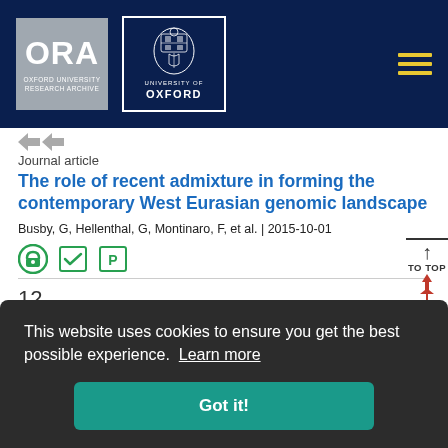[Figure (logo): ORA Oxford University Research Archive logo and University of Oxford crest logo on dark navy header, with hamburger menu icon]
Journal article
The role of recent admixture in forming the contemporary West Eurasian genomic landscape
Busby, G, Hellenthal, G, Montinaro, F, et al. | 2015-10-01
[Figure (infographic): Open access icon, peer review icon, and publisher icon in green]
12
This website uses cookies to ensure you get the best possible experience. Learn more
Got it!